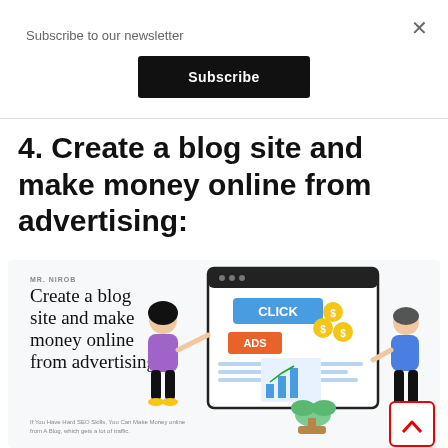Subscribe to our newsletter
Subscribe
4. Create a blog site and make money online from advertising:
[Figure (screenshot): Screenshot of a blog post titled 'Create a blog site and make money online from advertising' from MR. NIROB site, featuring an illustration of two people interacting with a webpage showing CLICK and ADS buttons with dollar coin icons, a bar/line chart, and a plant. Text reads: If You Have Hard SEO Skills, You Can Make Money online from A Blog, which gets a lot of traffic. Logo 'nrob' visible top right.]